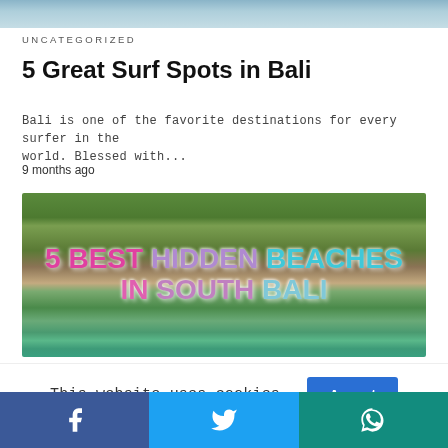[Figure (photo): Top portion of a beach/coastal scene image (cropped)]
UNCATEGORIZED
5 Great Surf Spots in Bali
Bali is one of the favorite destinations for every surfer in the world. Blessed with...
9 months ago
[Figure (photo): Aerial view of hidden beach in South Bali with text overlay reading '5 BEST HIDDEN BEACHES IN SOUTH BALI' in colorful letters]
This website uses cookies.
Facebook | Twitter | WhatsApp social share buttons